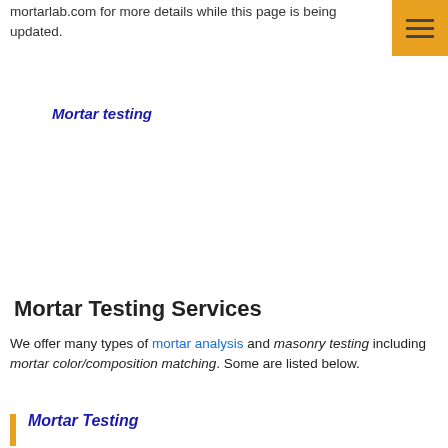mortarlab.com for more details while this page is being updated.
Mortar testing
Mortar Testing Services
We offer many types of mortar analysis and masonry testing including mortar color/composition matching. Some are listed below.
Mortar Testing